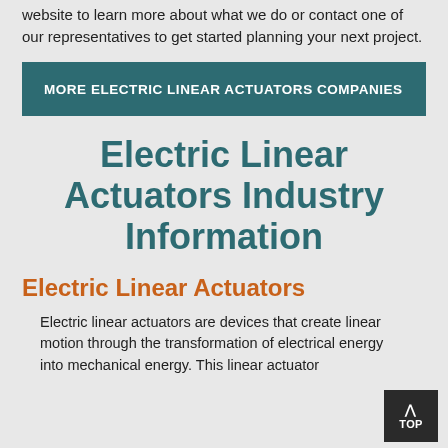website to learn more about what we do or contact one of our representatives to get started planning your next project.
MORE ELECTRIC LINEAR ACTUATORS COMPANIES
Electric Linear Actuators Industry Information
Electric Linear Actuators
Electric linear actuators are devices that create linear motion through the transformation of electrical energy into mechanical energy. This linear actuator